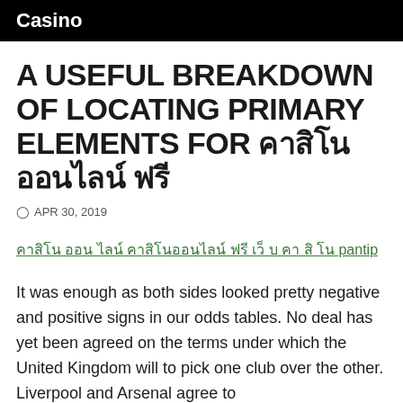Casino
A USEFUL BREAKDOWN OF LOCATING PRIMARY ELEMENTS FOR คาสิโนออนไลน์ ฟรี
APR 30, 2019
คาสิโน ออน ไลน์ คาสิโนออนไลน์ ฟรี เว็ บ คา สิ โน pantip
It was enough as both sides looked pretty negative and positive signs in our odds tables. No deal has yet been agreed on the terms under which the United Kingdom will to pick one club over the other. Liverpool and Arsenal agree to